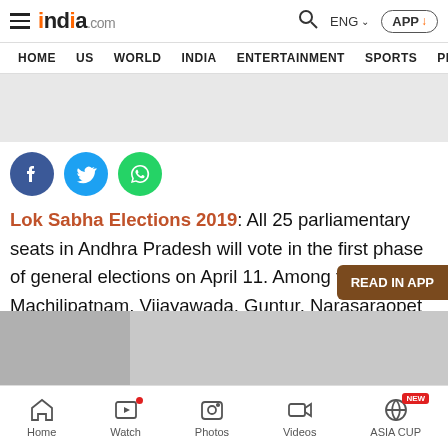india.com — HOME | US | WORLD | INDIA | ENTERTAINMENT | SPORTS | PHO
[Figure (screenshot): Advertisement placeholder gray box]
[Figure (infographic): Social share icons: Facebook (blue circle), Twitter (blue circle), WhatsApp (green circle)]
Lok Sabha Elections 2019: All 25 parliamentary seats in Andhra Pradesh will vote in the first phase of general elections on April 11. Among these, Machilipatnam, Vijayawada, Guntur, Narasaraopet and Bapatla seats will also go to polls. Here's all you need to know abou
[Figure (photo): Thumbnail image strip at bottom of article]
Home | Watch | Photos | Videos | ASIA CUP